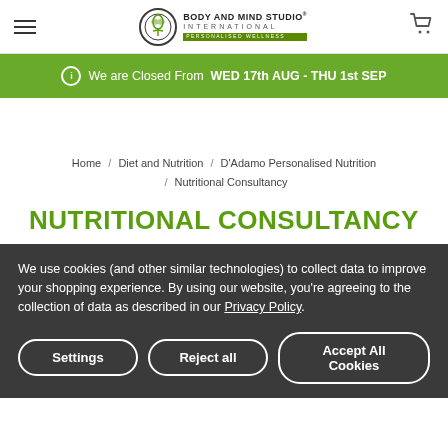Body and Mind Studio International — Personalised Wellness
We are Closed From WED 17th AUG - THU 1st SEP
Home / Diet and Nutrition / D'Adamo Personalised Nutrition / Nutritional Consultancy
NUTRITIONAL CONSULTANCY
We use cookies (and other similar technologies) to collect data to improve your shopping experience. By using our website, you're agreeing to the collection of data as described in our Privacy Policy.
Settings | Reject all | Accept All Cookies